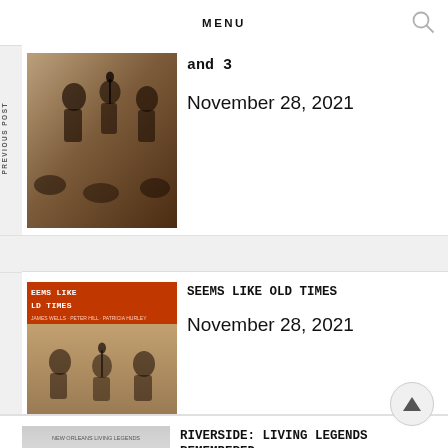MENU
PREVIOUS POST
NEXT POST
[Figure (photo): Black and white vintage photo of musicians performing]
and 3
November 28, 2021
[Figure (photo): Book cover: Seems Like Old Times, showing group of people]
SEEMS LIKE OLD TIMES
November 28, 2021
[Figure (photo): Book cover: New Orleans Living Legends Remembered]
RIVERSIDE: LIVING LEGENDS REMEMBERED
April 13, 2021